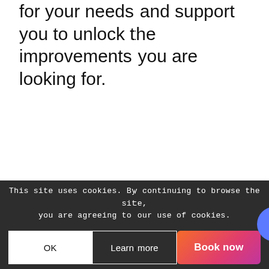for your needs and support you to unlock the improvements you are looking for.
This site uses cookies. By continuing to browse the site, you are agreeing to our use of cookies.
OK
Learn more
Book now